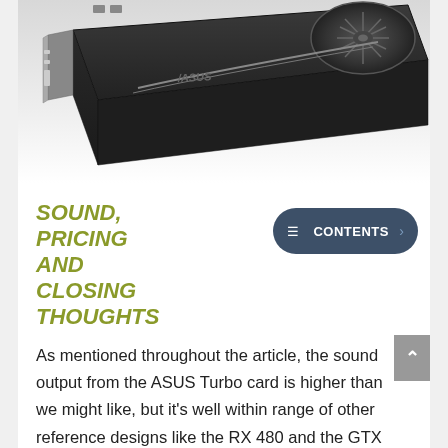[Figure (photo): ASUS Turbo graphics card (GPU) shown at an angle, black with a blower-style fan on the right side, on a white/gray gradient background]
SOUND, PRICING AND CLOSING THOUGHTS
CONTENTS
As mentioned throughout the article, the sound output from the ASUS Turbo card is higher than we might like, but it's well within range of other reference designs like the RX 480 and the GTX 1070 Founders Edition.